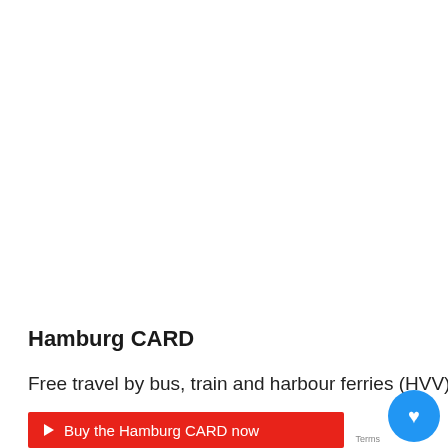Hamburg CARD
Free travel by bus, train and harbour ferries (HVV) and up to 50% discount on over 150 tourist offers
Buy the Hamburg CARD now
Terms